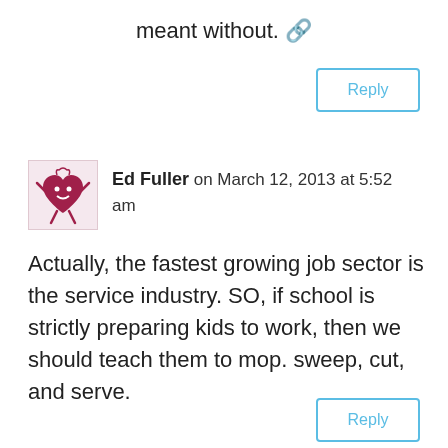meant without. 🔗
Reply
Ed Fuller on March 12, 2013 at 5:52 am
Actually, the fastest growing job sector is the service industry. SO, if school is strictly preparing kids to work, then we should teach them to mop. sweep, cut, and serve.
Reply